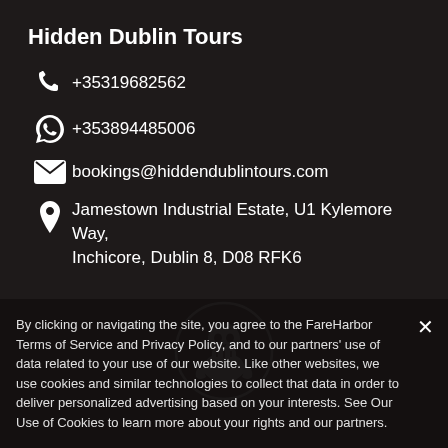Hidden Dublin Tours
+35319682562
+353894485006
bookings@hiddendublintours.com
Jamestown Industrial Estate, U1 Kylemore Way, Inchicore, Dublin 8, D08 RFK6
[Figure (logo): Hidden Dublin Tours skull logo in circular frame]
By clicking or navigating the site, you agree to the FareHarbor Terms of Service and Privacy Policy, and to our partners' use of data related to your use of our website. Like other websites, we use cookies and similar technologies to collect that data in order to deliver personalized advertising based on your interests. See Our Use of Cookies to learn more about your rights and our partners.